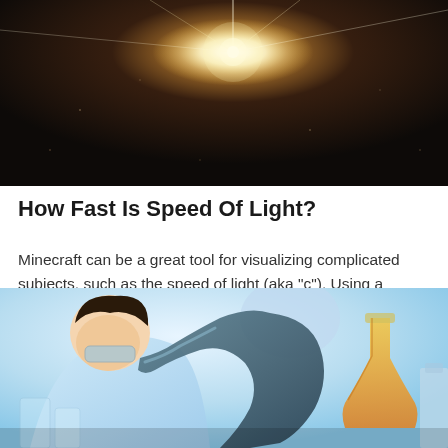[Figure (photo): Dark background with a bright starburst/lens flare of light in the upper center area, suggesting a light source or sun.]
How Fast Is Speed Of Light?
Minecraft can be a great tool for visualizing complicated subjects, such as the speed of light (aka "c"). Using a straight track and simple math, we can see how the universe might be limiting speeds for very fast things, such as light.
[Figure (photo): A scientist in a blue lab coat looking through a microscope in a laboratory setting, with laboratory glassware and equipment visible in the background, including an orange/yellow liquid in a flask.]